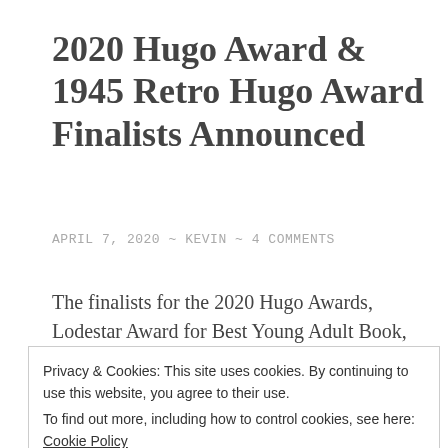2020 Hugo Award & 1945 Retro Hugo Award Finalists Announced
APRIL 7, 2020 ~ KEVIN ~ 4 COMMENTS
The finalists for the 2020 Hugo Awards, Lodestar Award for Best Young Adult Book, and Astounding Award for Best New Writer and for the 1945 Retrospective Hugo Awards were announced online
Privacy & Cookies: This site uses cookies. By continuing to use this website, you agree to their use.
To find out more, including how to control cookies, see here: Cookie Policy
Close and accept
78th Worldcon, and Dublin 2019: An Irish Worldcon